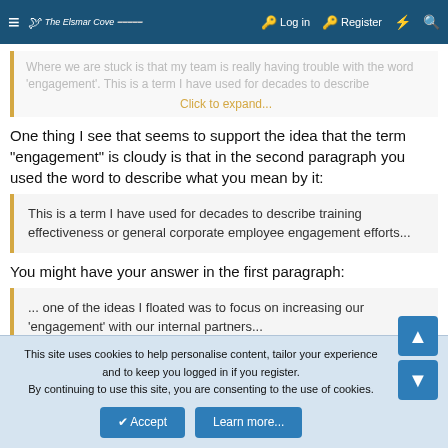≡ The Elsmar Cove | Log in | Register
Where we are stuck is that my team is really having trouble with the word 'engagement'. This is a term I have used for decades to describe... Click to expand...
One thing I see that seems to support the idea that the term "engagement" is cloudy is that in the second paragraph you used the word to describe what you mean by it:
This is a term I have used for decades to describe training effectiveness or general corporate employee engagement efforts...
You might have your answer in the first paragraph:
... one of the ideas I floated was to focus on increasing our 'engagement' with our internal partners...
How about developing partnerships?
This site uses cookies to help personalise content, tailor your experience and to keep you logged in if you register.
By continuing to use this site, you are consenting to the use of cookies.